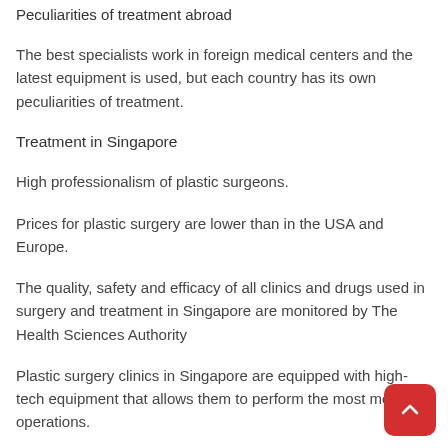The best specialists work in foreign medical centers and the latest equipment is used, but each country has its own peculiarities of treatment.
Treatment in Singapore
High professionalism of plastic surgeons.
Prices for plastic surgery are lower than in the USA and Europe.
The quality, safety and efficacy of all clinics and drugs used in surgery and treatment in Singapore are monitored by The Health Sciences Authority
Plastic surgery clinics in Singapore are equipped with high-tech equipment that allows them to perform the most modern operations.